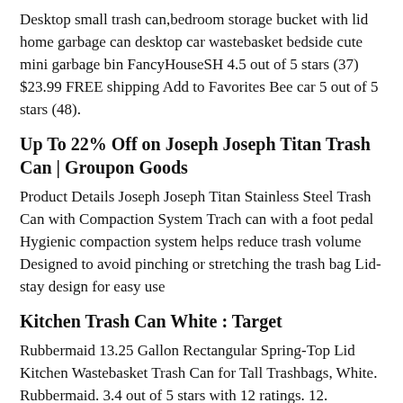Desktop small trash can,bedroom storage bucket with lid home garbage can desktop car wastebasket bedside cute mini garbage bin FancyHouseSH 4.5 out of 5 stars (37) $23.99 FREE shipping Add to Favorites Bee car 5 out of 5 stars (48).
Up To 22% Off on Joseph Joseph Titan Trash Can | Groupon Goods
Product Details Joseph Joseph Titan Stainless Steel Trash Can with Compaction System Trach can with a foot pedal Hygienic compaction system helps reduce trash volume Designed to avoid pinching or stretching the trash bag Lid-stay design for easy use
Kitchen Trash Can White : Target
Rubbermaid 13.25 Gallon Rectangular Spring-Top Lid Kitchen Wastebasket Trash Can for Tall Trashbags, White. Rubbermaid. 3.4 out of 5 stars with 12 ratings. 12. $30.99 reg $36.99. Sale. Sold and shipped by. Currently